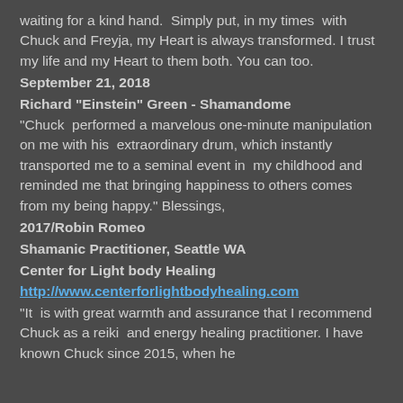waiting for a kind hand.  Simply put, in my times  with Chuck and Freyja, my Heart is always transformed. I trust my life and my Heart to them both. You can too.
September 21, 2018
Richard "Einstein" Green - Shamandome
"Chuck  performed a marvelous one-minute manipulation on me with his  extraordinary drum, which instantly transported me to a seminal event in  my childhood and reminded me that bringing happiness to others comes  from my being happy." Blessings,
2017/Robin Romeo
Shamanic Practitioner, Seattle WA
Center for Light body Healing
http://www.centerforlightbodyhealing.com
"It  is with great warmth and assurance that I recommend Chuck as a reiki  and energy healing practitioner. I have known Chuck since 2015, when he